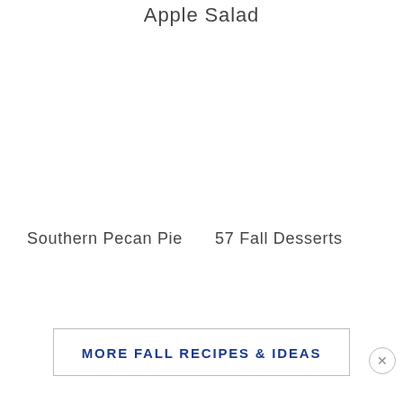Apple Salad
Southern Pecan Pie    57 Fall Desserts
MORE FALL RECIPES & IDEAS